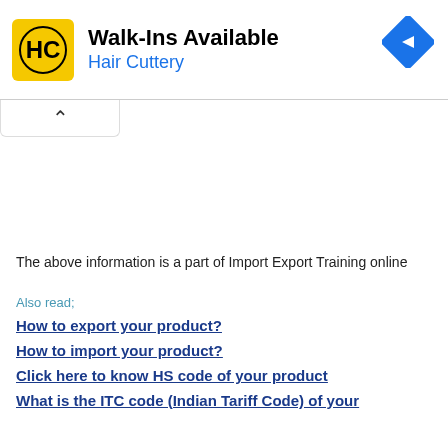[Figure (screenshot): Advertisement banner for Hair Cuttery: Walk-Ins Available, with yellow HC logo and blue navigation arrow icon on right.]
The above information is a part of Import Export Training online
Also read;
How to export your product?
How to import your product?
Click here to know HS code of your product
What is the ITC code (Indian Tariff Code) of your